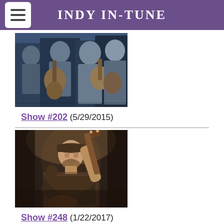INDY IN-TUNE
[Figure (photo): Color photo of a band playing string instruments (guitars/ukuleles) indoors, multiple musicians in flannel shirts]
Show #202 (5/29/2015)
[Figure (photo): Black and white/sepia photo of a male musician playing guitar, wearing a cap, dramatic lighting]
Show #248 (1/22/2017)